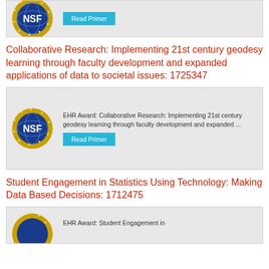[Figure (logo): NSF (National Science Foundation) logo - blue globe with NSF text and gold star border, partial view at top]
Read Primer
Collaborative Research: Implementing 21st century geodesy learning through faculty development and expanded applications of data to societal issues: 1725347
[Figure (logo): NSF (National Science Foundation) logo - blue globe with NSF text and gold star border]
EHR Award: Collaborative Research: Implementing 21st century geodesy learning through faculty development and expanded ...
Read Primer
Student Engagement in Statistics Using Technology: Making Data Based Decisions: 1712475
[Figure (logo): NSF (National Science Foundation) logo - partial view at bottom]
EHR Award: Student Engagement in